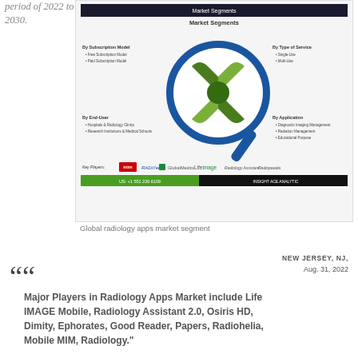period of 2022 to 2030.
[Figure (infographic): Global radiology apps market segmentation infographic showing a magnifying glass with puzzle pieces divided into 4 segments. Market segments include By Subscription Model (Free Subscription Model, Paid Subscription Model), By Type of Service (Single-Use, Multi-Use), By End-User (Hospitals & Radiology Clinics, Research Institutions & Medical Schools), By Application (Diagnostic Imaging Management, Radiation Management, Educational Purpose). Key Players shown: MIM, RADiYer, GlobalMedics, LifeImage, Radiology Assistant, Radiopaedia. Contact: US: +1 551 226 6109. Insight Ace Analytic logo.]
Global radiology apps market segment
NEW JERSEY, NJ,
Aug. 31, 2022
Major Players in Radiology Apps Market include Life IMAGE Mobile, Radiology Assistant 2.0, Osiris HD, Dimity, Ephorates, Good Reader, Papers, Radiohelia, Mobile MIM, Radiology."